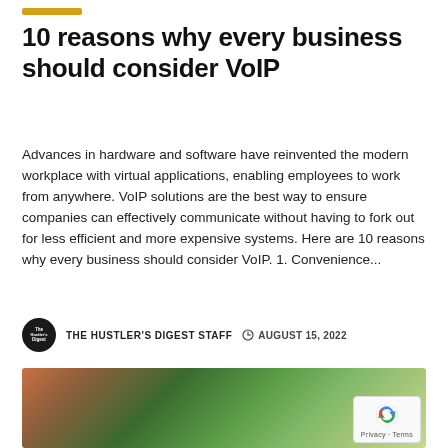10 reasons why every business should consider VoIP
Advances in hardware and software have reinvented the modern workplace with virtual applications, enabling employees to work from anywhere. VoIP solutions are the best way to ensure companies can effectively communicate without having to fork out for less efficient and more expensive systems. Here are 10 reasons why every business should consider VoIP. 1. Convenience...
THE HUSTLER'S DIGEST STAFF   AUGUST 15, 2022
[Figure (photo): Outdoor photo showing tree branches and green foliage against bright sky, with a person's arm visible on the left side]